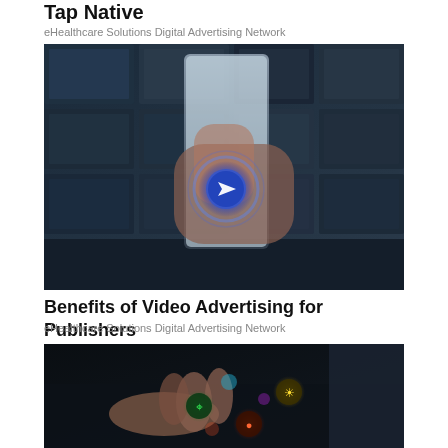Tap Native
eHealthcare Solutions Digital Advertising Network
[Figure (photo): Hand touching a glowing tablet or smartphone screen with a blue arrow/navigation icon, set against a background of blurred media thumbnails]
Benefits of Video Advertising for Publishers
eHealthcare Solutions Digital Advertising Network
[Figure (photo): Hands touching a dark surface or tablet with glowing circular app/interface icons including wifi, lightbulb, and location pin symbols]